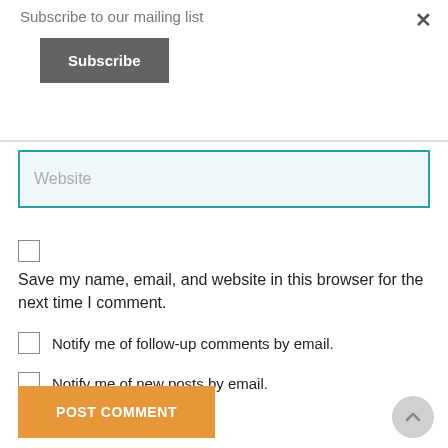Subscribe to our mailing list
Subscribe
Website
Save my name, email, and website in this browser for the next time I comment.
Notify me of follow-up comments by email.
Notify me of new posts by email.
POST COMMENT